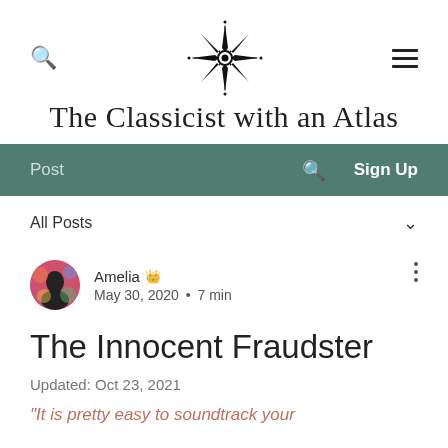[Figure (logo): Compass rose / star logo in black, centered at top]
The Classicist with an Atlas
Post  Search  Sign Up
All Posts
Amelia  May 30, 2020 • 7 min
The Innocent Fraudster
Updated: Oct 23, 2021
"It is pretty easy to soundtrack your